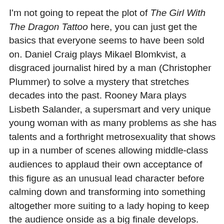I'm not going to repeat the plot of The Girl With The Dragon Tattoo here, you can just get the basics that everyone seems to have been sold on. Daniel Craig plays Mikael Blomkvist, a disgraced journalist hired by a man (Christopher Plummer) to solve a mystery that stretches decades into the past. Rooney Mara plays Lisbeth Salander, a supersmart and very unique young woman with as many problems as she has talents and a forthright metrosexuality that shows up in a number of scenes allowing middle-class audiences to applaud their own acceptance of this figure as an unusual lead character before calming down and transforming into something altogether more suiting to a lady hoping to keep the audience onside as a big finale develops. There's also Stellan Skarsgard being as great as always and fine support from Stephen Berkoff, Robin Wright and many others.